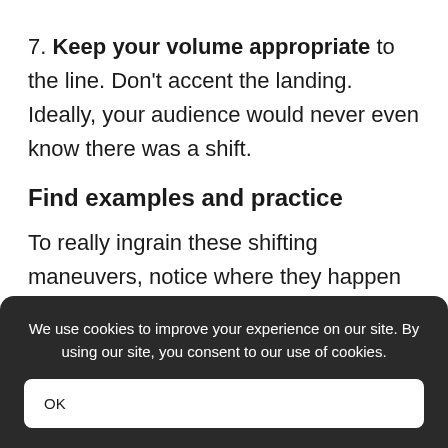7. Keep your volume appropriate to the line. Don't accent the landing. Ideally, your audience would never even know there was a shift.
Find examples and practice
To really ingrain these shifting maneuvers, notice where they happen in your tunes, and make a list of them. (if you don't play tunes
We use cookies to improve your experience on our site. By using our site, you consent to our use of cookies.
OK